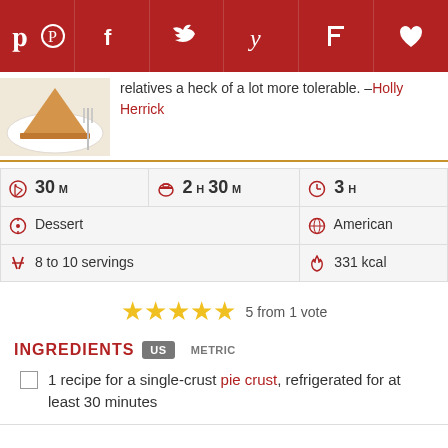[Figure (screenshot): Social sharing bar with Pinterest, Facebook, Twitter, Yummly, Flipboard, and heart/save icons on dark red background]
relatives a heck of a lot more tolerable. –Holly Herrick
[Figure (photo): Pie slice on a white plate with a fork]
| Prep | Cook | Total |
| --- | --- | --- |
| 30 M | 2 H 30 M | 3 H |
| Dessert | American |  |
| 8 to 10 servings | 331 kcal |  |
5 from 1 vote
INGREDIENTS
1 recipe for a single-crust pie crust, refrigerated for at least 30 minutes